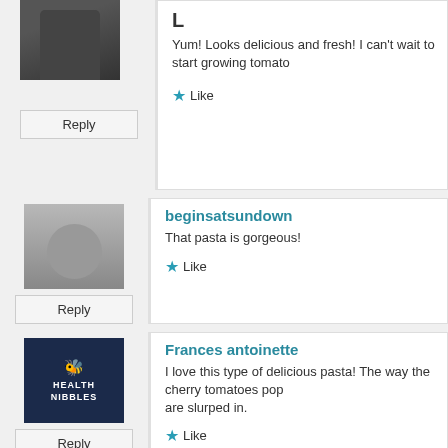L
Yum! Looks delicious and fresh! I can't wait to start growing tomato...
★ Like
[Figure (photo): Avatar photo of a person]
Reply
beginsatsundown
That pasta is gorgeous!
★ Like
[Figure (logo): Health Nibbles dark blue logo with bee icon]
Reply
Frances antoinette
I love this type of delicious pasta! The way the cherry tomatoes pop... are slurped in.
★ Like
[Figure (photo): Avatar photo of a person]
Pierotucci
Advertisements
[Figure (infographic): Ad banner: Launch your online course with WordPress - Learn More]